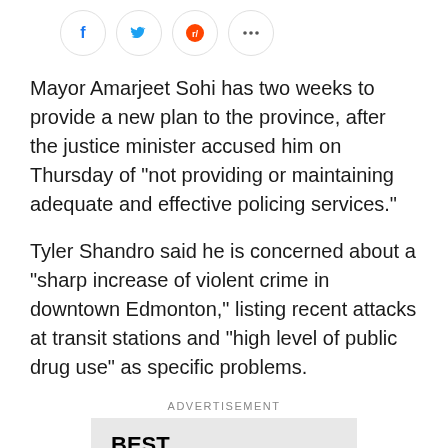[Figure (other): Social share icons: Facebook (blue circle with f), Twitter (blue bird), Reddit (orange alien mascot), and a three-dot more options button, all in circular bordered buttons]
Mayor Amarjeet Sohi has two weeks to provide a new plan to the province, after the justice minister accused him on Thursday of "not providing or maintaining adequate and effective policing services."
Tyler Shandro said he is concerned about a "sharp increase of violent crime in downtown Edmonton," listing recent attacks at transit stations and "high level of public drug use" as specific problems.
ADVERTISEMENT
[Figure (logo): Best Buy logo in bold black text inside a light grey advertisement box]